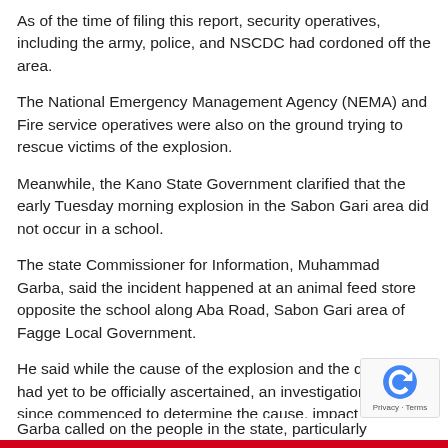As of the time of filing this report, security operatives, including the army, police, and NSCDC had cordoned off the area.
The National Emergency Management Agency (NEMA) and Fire service operatives were also on the ground trying to rescue victims of the explosion.
Meanwhile, the Kano State Government clarified that the early Tuesday morning explosion in the Sabon Gari area did not occur in a school.
The state Commissioner for Information, Muhammad Garba, said the incident happened at an animal feed store opposite the school along Aba Road, Sabon Gari area of Fagge Local Government.
He said while the cause of the explosion and the damage had yet to be officially ascertained, an investigation has since commenced to determine the cause, impact and measures to be taken.
Garba called on the people in the state, particularly